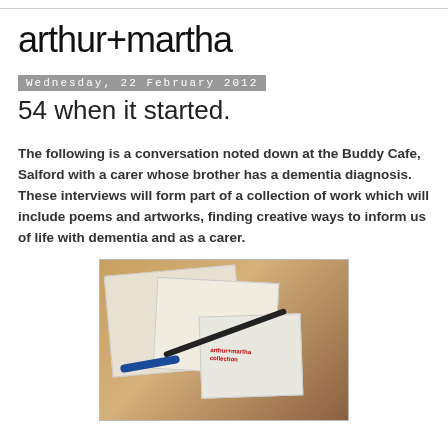arthur+martha
Wednesday, 22 February 2012
54 when it started.
The following is a conversation noted down at the Buddy Cafe, Salford with a carer whose brother has a dementia diagnosis. These interviews will form part of a collection of work which will include poems and artworks, finding creative ways to inform us of life with dementia and as a carer.
[Figure (photo): Photo of papers/documents and a pen on a table, appears to be handwritten notes or interview materials]